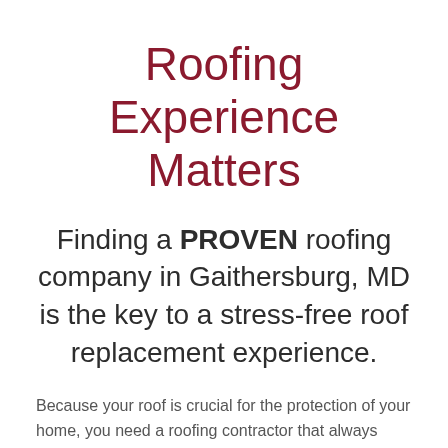Roofing Experience Matters
Finding a PROVEN roofing company in Gaithersburg, MD is the key to a stress-free roof replacement experience.
Because your roof is crucial for the protection of your home, you need a roofing contractor that always does the job right the first time. Always look for experience and real promises. We've replaced tens of thousands of roofs in Gaithersburg and the Greater Baltimore-Washington area. We have a few other things to...